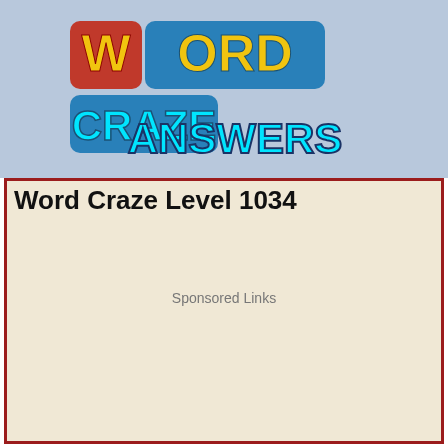[Figure (logo): Word Craze Answers logo with colorful bubble letters on a light blue background]
Word Craze Level 1034
Sponsored Links